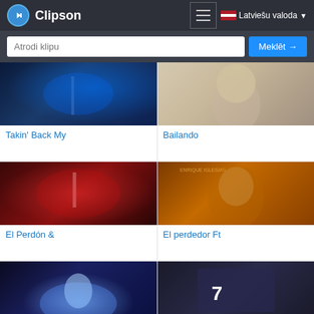Clipson — Latviešu valoda
Atrodi klipu | Meklēt →
[Figure (screenshot): Thumbnail for Takin' Back My — concert stage with blue lighting]
Takin' Back My
[Figure (screenshot): Thumbnail for Bailando — blonde woman]
Bailando
[Figure (screenshot): Thumbnail for El Perdón & — red concert crowd]
El Perdón &
[Figure (screenshot): Thumbnail for El perdedor Ft — close-up face with orange tint]
El perdedor Ft
[Figure (screenshot): Thumbnail — concert performer with bright spotlight]
[Figure (screenshot): Thumbnail — album cover with number 7]